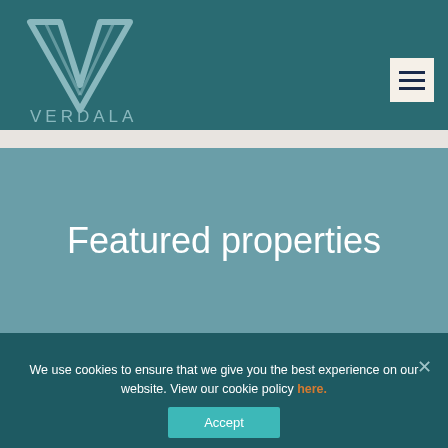[Figure (logo): Verdala company logo: stylized V shape in light teal/grey with text VERDALA below, on dark teal background]
[Figure (other): Hamburger menu icon (three horizontal lines) in a light beige/cream square button, top right of header]
Featured properties
We use cookies to ensure that we give you the best experience on our website. View our cookie policy here.
Accept